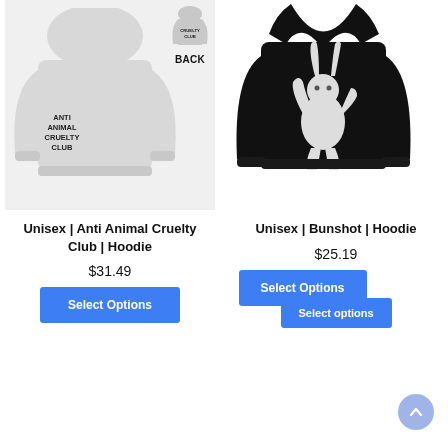[Figure (photo): Grey hoodie with 'Anti Animal Cruelty Club' text on chest, shown with small back view thumbnail labeled BACK]
Unisex | Anti Animal Cruelty Club | Hoodie
$31.49
Select Options
[Figure (photo): Black hoodie with standing rabbit graphic on chest]
Unisex | Bunshot | Hoodie
$25.19
Select Options
Select options